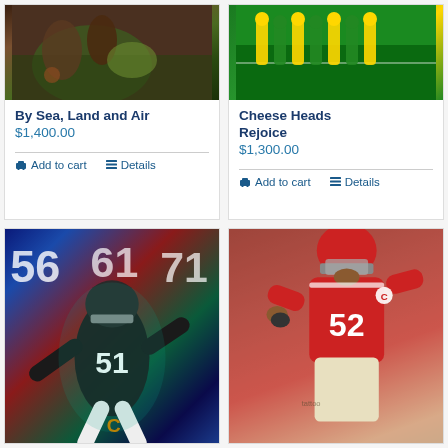[Figure (illustration): Sports painting of football player running with ball, dynamic action scene with green grass and earthy tones]
By Sea, Land and Air
$1,400.00
Add to cart   Details
[Figure (photo): Green Bay Packers players huddled on football field in yellow and green uniforms]
Cheese Heads Rejoice
$1,300.00
Add to cart   Details
[Figure (illustration): Chicago Bears player #51 in dark uniform, artistic painted style with teal and red background, numbers 56 61 71 visible]
[Figure (photo): Football player #52 in red uniform leaning forward in action pose]